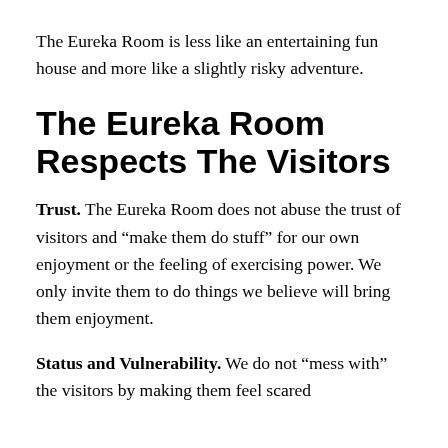The Eureka Room is less like an entertaining fun house and more like a slightly risky adventure.
The Eureka Room Respects The Visitors
Trust. The Eureka Room does not abuse the trust of visitors and “make them do stuff” for our own enjoyment or the feeling of exercising power. We only invite them to do things we believe will bring them enjoyment.
Status and Vulnerability. We do not “mess with” the visitors by making them feel scared